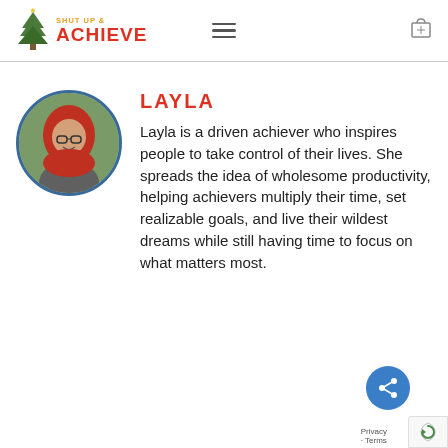[Figure (logo): Shut Up & Achieve logo with mountain/tree icon and text in orange and red]
LAYLA
[Figure (photo): Circular avatar photo of Layla, a woman wearing a red hijab and glasses, smiling outdoors]
Layla is a driven achiever who inspires people to take control of their lives. She spreads the idea of wholesome productivity, helping achievers multiply their time, set realizable goals, and live their wildest dreams while still having time to focus on what matters most.
Privacy · Terms